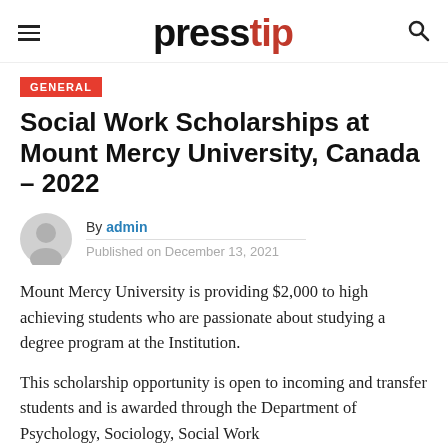presstip
GENERAL
Social Work Scholarships at Mount Mercy University, Canada – 2022
By admin
Published on December 13, 2021
Mount Mercy University is providing $2,000 to high achieving students who are passionate about studying a degree program at the Institution.
This scholarship opportunity is open to incoming and transfer students and is awarded through the Department of Psychology, Sociology, Social Work